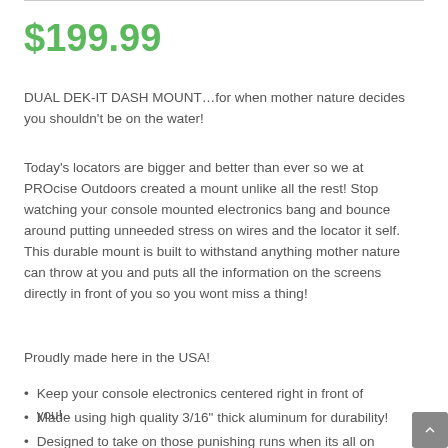$199.99
DUAL DEK-IT DASH MOUNT…for when mother nature decides you shouldn't be on the water!
Today's locators are bigger and better than ever so we at PROcise Outdoors created a mount unlike all the rest! Stop watching your console mounted electronics bang and bounce around putting unneeded stress on wires and the locator it self. This durable mount is built to withstand anything mother nature can throw at you and puts all the information on the screens directly in front of you so you wont miss a thing!
Proudly made here in the USA!
Keep your console electronics centered right in front of you!
Made using high quality 3/16" thick aluminum for durability!
Designed to take on those punishing runs when its all on the…